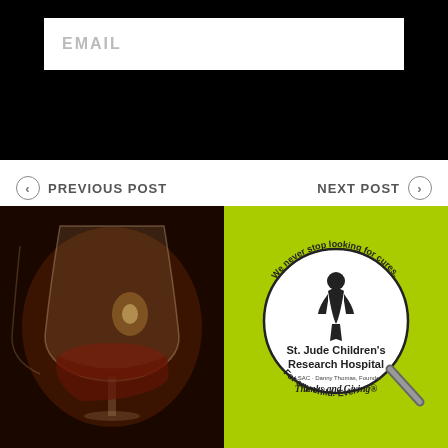[Figure (screenshot): Black background section with a white EMAIL input field placeholder]
< PREVIOUS POST
NEXT POST >
[Figure (photo): Close-up photo of wine glasses with warm candlelight background]
[Figure (logo): St. Jude Children's Research Hospital Thanks and Giving logo on bright green/yellow background with magnifying glass graphic. Text: We never stop looking for cures. St. Jude Children's Research Hospital. Thanks and Giving. For any child. Ever.]